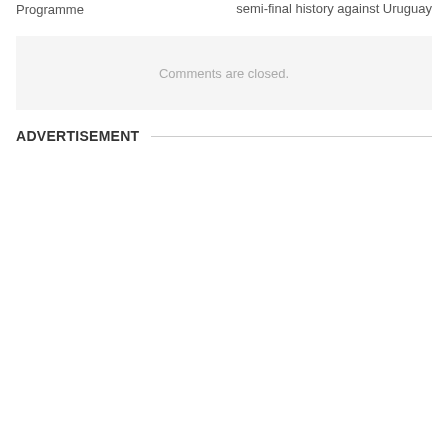Programme
semi-final history against Uruguay
Comments are closed.
ADVERTISEMENT